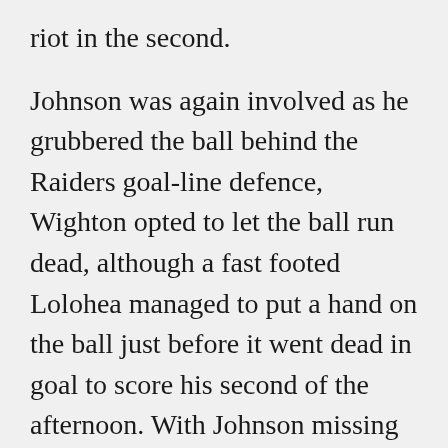riot in the second.
Johnson was again involved as he grubbered the ball behind the Raiders goal-line defence, Wighton opted to let the ball run dead, although a fast footed Lolohea managed to put a hand on the ball just before it went dead in goal to score his second of the afternoon. With Johnson missing his first conversion of the match the lead stood at 24-8 with 25 minutes remaining.
With only four minutes remaining New Zealand went about improving their points differential. Manu Vatuvei intercepted a lofted ball from Sam Williams, Vatuvei then broke a